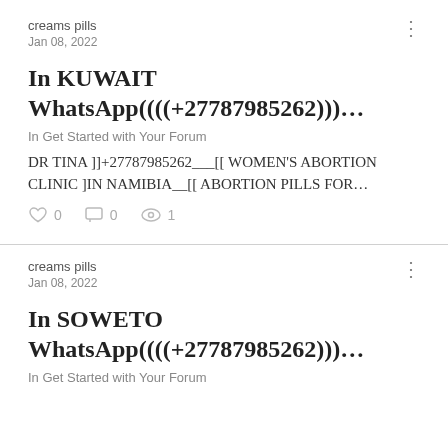creams pills
Jan 08, 2022
In KUWAIT WhatsApp((((+27787985262)))…
In Get Started with Your Forum
DR TINA ]]+27787985262___[[ WOMEN'S ABORTION CLINIC ]IN NAMIBIA__[[ ABORTION PILLS FOR…
0  0  1
creams pills
Jan 08, 2022
In SOWETO WhatsApp((((+27787985262)))…
In Get Started with Your Forum